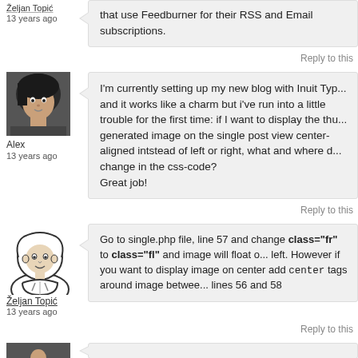that use Feedburner for their RSS and Email subscriptions.
Reply to this
[Figure (photo): Avatar photo of Alex - person with dark hair]
Alex
13 years ago
I'm currently setting up my new blog with Inuit Type and it works like a charm but i've run into a little trouble for the first time: if I want to display the thumbnail generated image on the single post view center-aligned intstead of left or right, what and where do I change in the css-code?
Great job!
Reply to this
[Figure (illustration): Avatar illustration of Zeljan Topic - cartoon face with hoodie]
Željan Topić
13 years ago
Go to single.php file, line 57 and change class="fr" to class="fl" and image will float on left. However if you want to display image on center add center tags around image between lines 56 and 58
Reply to this